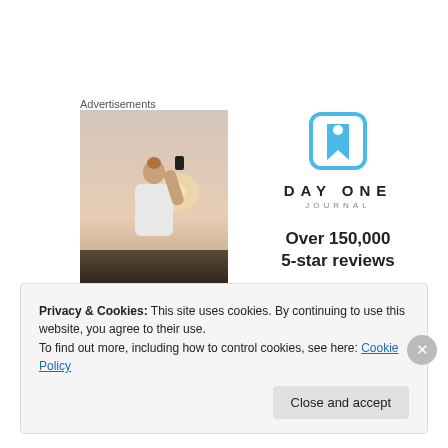Advertisements
[Figure (photo): Person photographing sunset with smartphone, seen from behind, wearing white t-shirt]
[Figure (logo): Day One Journal logo — blue bookmark icon with DAYONE JOURNAL wordmark, Over 150,000 5-star reviews, five black stars]
Privacy & Cookies: This site uses cookies. By continuing to use this website, you agree to their use.
To find out more, including how to control cookies, see here: Cookie Policy
Close and accept